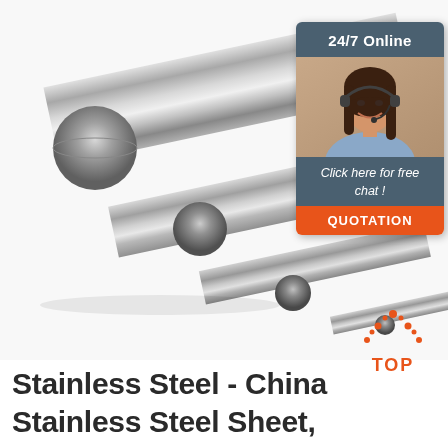[Figure (photo): Three polished stainless steel round bars/rods of different diameters arranged diagonally on white background]
[Figure (infographic): Chat widget with dark blue-grey header '24/7 Online', photo of smiling woman with headset, dark body with italic text 'Click here for free chat!', and orange button 'QUOTATION']
[Figure (logo): TOP logo with orange dotted triangle/arch above orange text 'TOP']
Stainless Steel - China Stainless Steel Sheet,